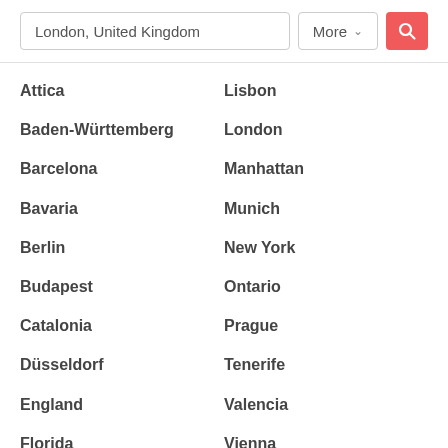London, United Kingdom | More | Search
Attica
Baden-Württemberg
Barcelona
Bavaria
Berlin
Budapest
Catalonia
Düsseldorf
England
Florida
Frankfurt
Lisbon
London
Manhattan
Munich
New York
Ontario
Prague
Tenerife
Valencia
Vienna